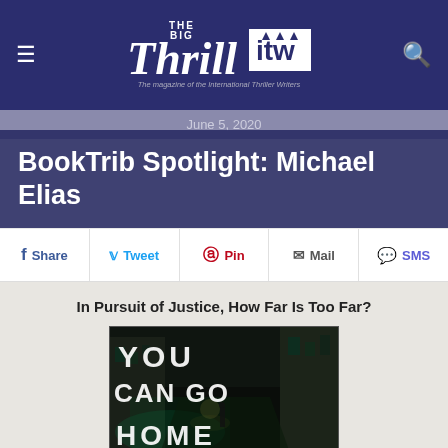[Figure (logo): The Big Thrill magazine logo with ITW logo and tagline 'The magazine of the International Thriller Writers']
June 5, 2020
BookTrib Spotlight: Michael Elias
Share  Tweet  Pin  Mail  SMS
In Pursuit of Justice, How Far Is Too Far?
[Figure (photo): Book cover of 'You Can Go Home' showing a nighttime city alley with teal-lit street and figure, with large white text overlay reading YOU CAN GO HOME]